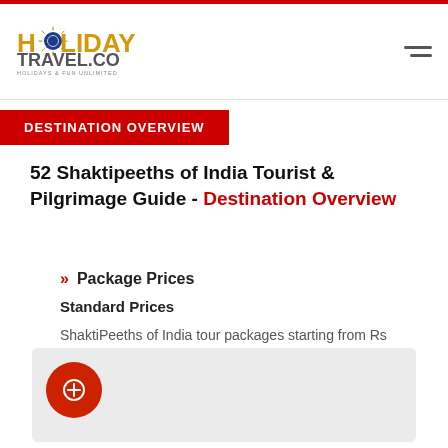HOLIDAY TRAVEL.CO — HOLIDAYS & FUN UNLIMITED
DESTINATION OVERVIEW
52 Shaktipeeths of India Tourist & Pilgrimage Guide - Destination Overview
Package Prices
Standard Prices
ShaktiPeeths of India tour packages starting from Rs 9999/- including shaktipeeth darshan of Himachal..
[Figure (other): Light grey image placeholder area with red circle icon button at bottom left]